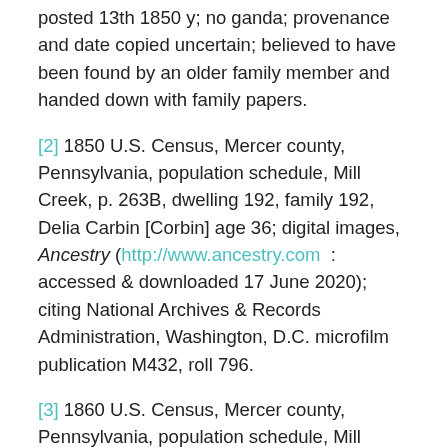posted 13th 1850 y; no ganda; provenance and date copied uncertain; believed to have been found by an older family member and handed down with family papers.
[2] 1850 U.S. Census, Mercer county, Pennsylvania, population schedule, Mill Creek, p. 263B, dwelling 192, family 192, Delia Carbin [Corbin] age 36; digital images, Ancestry (http://www.ancestry.com : accessed & downloaded 17 June 2020); citing National Archives & Records Administration, Washington, D.C. microfilm publication M432, roll 796.
[3] 1860 U.S. Census, Mercer county, Pennsylvania, population schedule, Mill Creek, p. 163 (ink pen),p. 459 (stamp), dwelling 1165, family 1121, Sarah Corban age 68; digital images, Ancestry (http://www.ancestry.com :